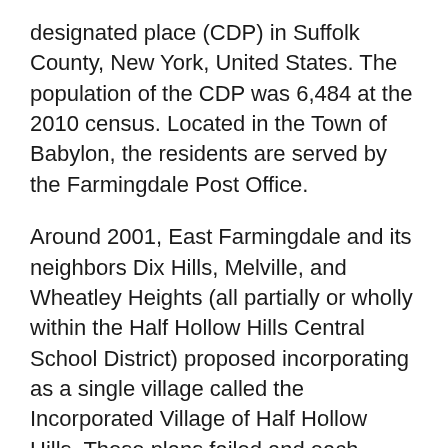designated place (CDP) in Suffolk County, New York, United States. The population of the CDP was 6,484 at the 2010 census. Located in the Town of Babylon, the residents are served by the Farmingdale Post Office.
Around 2001, East Farmingdale and its neighbors Dix Hills, Melville, and Wheatley Heights (all partially or wholly within the Half Hollow Hills Central School District) proposed incorporating as a single village called the Incorporated Village of Half Hollow Hills. These plans failed and each remain unincorporated hamlets to this day.
Learn more about East Farmingdale.
Useful links for East Farmingdale,